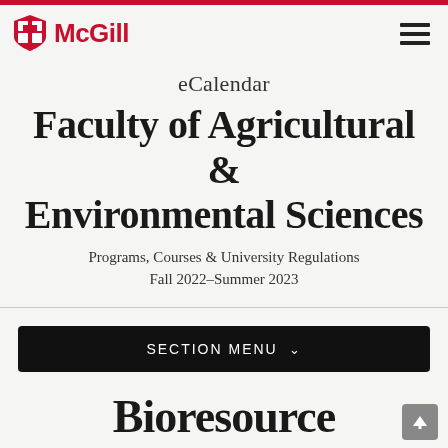McGill
eCalendar
Faculty of Agricultural & Environmental Sciences
Programs, Courses & University Regulations Fall 2022–Summer 2023
SECTION MENU
Bioresource